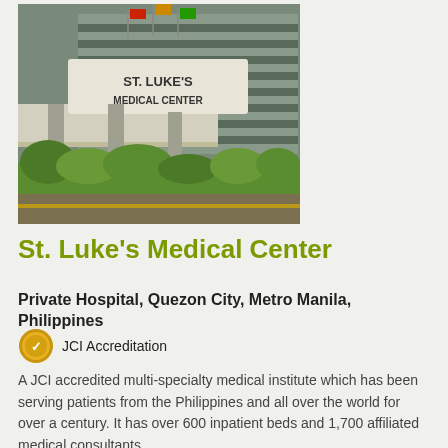[Figure (photo): Exterior photo of St. Luke's Medical Center building with signage and landscaping]
St. Luke's Medical Center
Private Hospital, Quezon City, Metro Manila, Philippines
JCI Accreditation
A JCI accredited multi-specialty medical institute which has been serving patients from the Philippines and all over the world for over a century. It has over 600 inpatient beds and 1,700 affiliated medical consultants.